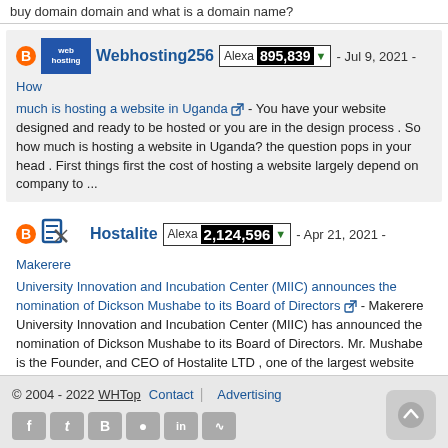buy domain domain and what is a domain name?
Webhosting256 Alexa 895,839 - Jul 9, 2021 - How much is hosting a website in Uganda - You have your website designed and ready to be hosted or you are in the design process . So how much is hosting a website in Uganda? the question pops in your head . First things first the cost of hosting a website largely depend on company to ...
Hostalite Alexa 2,124,596 - Apr 21, 2021 - Makerere University Innovation and Incubation Center (MIIC) announces the nomination of Dickson Mushabe to its Board of Directors - Makerere University Innovation and Incubation Center (MIIC) has announced the nomination of Dickson Mushabe to its Board of Directors. Mr. Mushabe is the Founder, and CEO of Hostalite LTD , one of the largest website designing and hosting companies ...
© 2004 - 2022 WHTop  Contact | Advertising